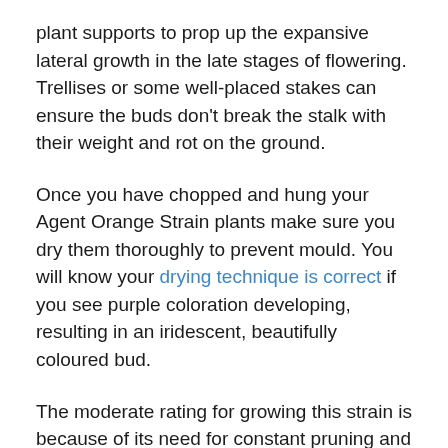plant supports to prop up the expansive lateral growth in the late stages of flowering. Trellises or some well-placed stakes can ensure the buds don't break the stalk with their weight and rot on the ground.
Once you have chopped and hung your Agent Orange Strain plants make sure you dry them thoroughly to prevent mould. You will know your drying technique is correct if you see purple coloration developing, resulting in an iridescent, beautifully coloured bud.
The moderate rating for growing this strain is because of its need for constant pruning and its Mediterranean climatic needs but relatively speaking it's quite simple to grow. The pruning efforts, you put in initially during growing pay off with large yields of wonderful Sativa cannabis.
You can get up to a pound per square metre grown indoors